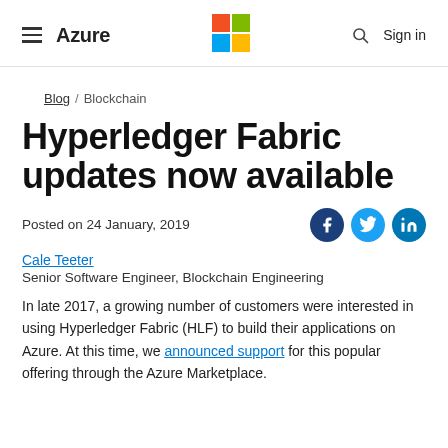Azure | Microsoft logo | Sign in
Blog / Blockchain
Hyperledger Fabric updates now available
Posted on 24 January, 2019
Cale Teeter
Senior Software Engineer, Blockchain Engineering
In late 2017, a growing number of customers were interested in using Hyperledger Fabric (HLF) to build their applications on Azure. At this time, we announced support for this popular offering through the Azure Marketplace.